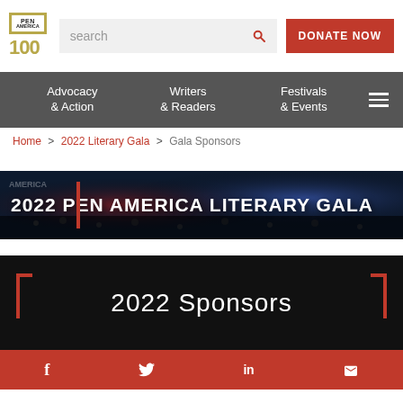[Figure (logo): PEN America 100 logo with gold border]
search
DONATE NOW
Advocacy & Action
Writers & Readers
Festivals & Events
Home > 2022 Literary Gala > Gala Sponsors
[Figure (photo): 2022 PEN America Literary Gala banner with dark blue/purple crowd background and bold white text]
2022 Sponsors
f  twitter  in  email icons (social footer)